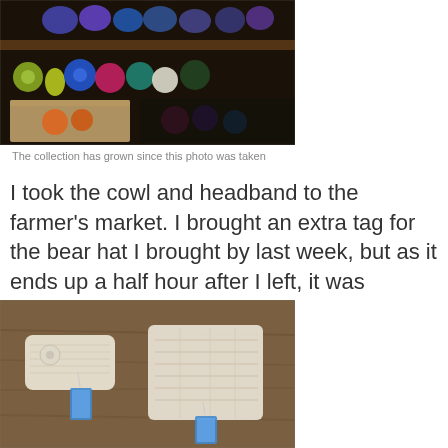[Figure (photo): A wooden shelf filled with colorful yarn balls and skeins in various colors including blue, green, pink, orange, and dark tones, with a cardboard box underneath.]
The collection has grown since this photo was taken
I took the cowl and headband to the farmer's market. I brought an extra tag for the bear hat I brought by last week, but as it ends up a half hour after I left, it was bought.
[Figure (photo): A knitted cream/white headband and cowl laid flat on a wooden surface, each with a small decorative price tag attached.]